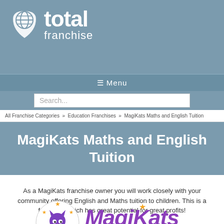[Figure (logo): Total Franchise logo with globe icon, white text on steel blue background]
☰ Menu
Search...
All Franchise Categories » Education Franchises » MagiKats Maths and English Tuition
MagiKats Maths and English Tuition
As a MagiKats franchise owner you will work closely with your community offering English and Maths tuition to children. This is a franchise which has great potential for great profits!
[Figure (logo): MagiKats Tuition Centres logo with purple cat in circle and MagiKats wordmark in purple italic with TUITION CENTRES in orange]